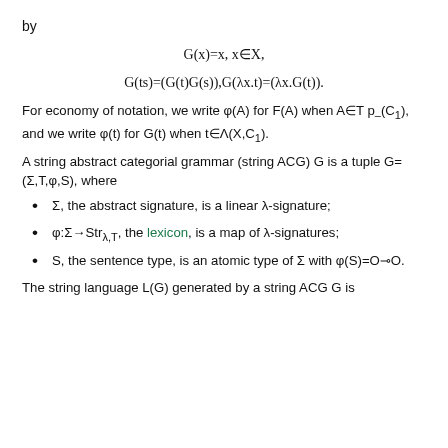by
For economy of notation, we write φ(A) for F(A) when A∈T p_–(C₁), and we write φ(t) for G(t) when t∈Λ(X,C₁).
A string abstract categorial grammar (string ACG) G is a tuple G=(Σ,T,φ,S), where
Σ, the abstract signature, is a linear λ-signature;
φ:Σ→StrΛ,T, the lexicon, is a map of λ-signatures;
S, the sentence type, is an atomic type of Σ with φ(S)=O⊸O.
The string language L(G) generated by a string ACG G is